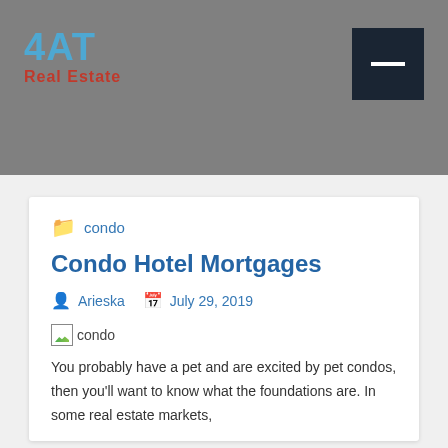4AT Real Estate
condo
Condo Hotel Mortgages
Arieska   July 29, 2019
[Figure (photo): Broken image placeholder with label 'condo']
You probably have a pet and are excited by pet condos, then you'll want to know what the foundations are. In some real estate markets,